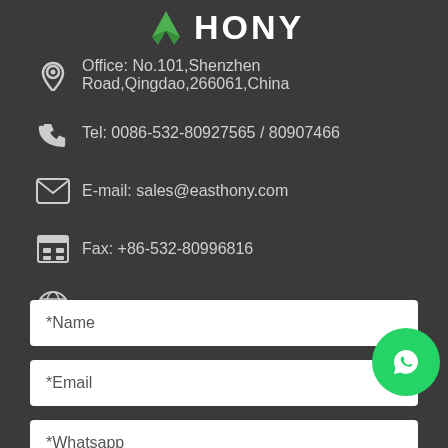[Figure (logo): EASTHONY company logo with green leaf icon and white bold text HONY]
Office: No.101,Shenzhen Road,Qingdao,266061,China
Tel: 0086-532-80927565 / 80907466
E-mail: sales@easthony.com
Fax: +86-532-80996816
Web: https://www.easthony.com
*Name
*Email
*Whatsapp
[Figure (logo): WhatsApp green circular chat bubble icon]